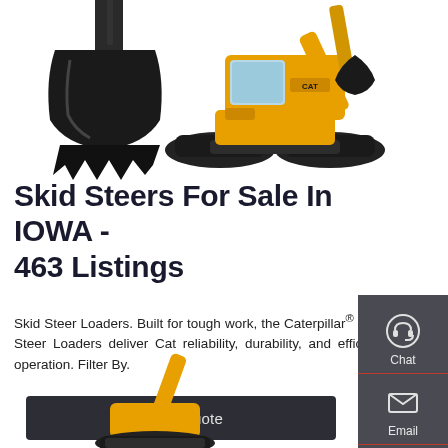[Figure (photo): Yellow Caterpillar excavator bucket on the left and full yellow excavator on the right, white background]
Skid Steers For Sale In IOWA - 463 Listings
Skid Steer Loaders. Built for tough work, the Caterpillar® Skid Steer Loaders deliver Cat reliability, durability, and efficient operation. Filter By.
Get a Quote
[Figure (infographic): Dark side panel with Chat (headset icon), Email (envelope icon), and Contact (chat bubble icon) buttons]
[Figure (photo): Yellow excavator/skid steer partial view at bottom of page]